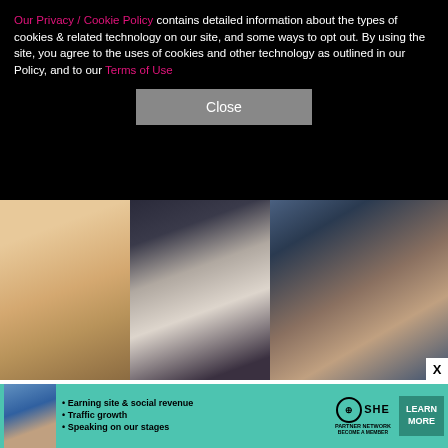Our Privacy / Cookie Policy contains detailed information about the types of cookies & related technology on our site, and some ways to opt out. By using the site, you agree to the uses of cookies and other technology as outlined in our Policy, and to our Terms of Use
Close
[Figure (photo): Two celebrity photos side by side: Kim Kardashian (blonde woman) on the left and Pete Davidson (young man with grey/dark hair) on the right against dark background]
KIM K REVEALS TRUE FEELINGS ABOUT PETE DAVIDSON SPLIT
[Figure (photo): Close-up photo of Chris Rock against blue background]
THE BRUTAL WAY CHRIS ROCK GOT REJECTED BY RIHANNA
[Figure (infographic): SHE Partner Network advertisement banner with woman photo, bullet points: Earning site & social revenue, Traffic growth, Speaking on our stages. SHE PARTNER NETWORK BECOME A MEMBER logo and LEARN MORE button]